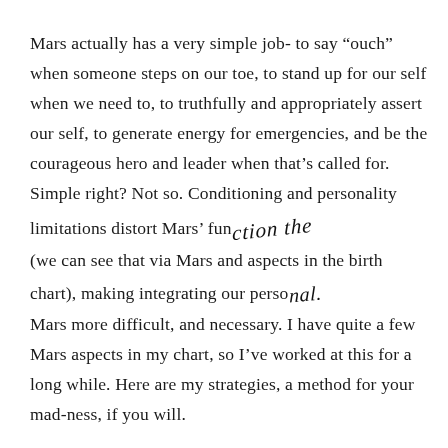Mars actually has a very simple job- to say “ouch” when someone steps on our toe, to stand up for our self when we need to, to truthfully and appropriately assert our self, to generate energy for emergencies, and be the courageous hero and leader when that’s called for. Simple right? Not so. Conditioning and personality limitations distort Mars’ function (we can see that via Mars and aspects in the birth chart), making integrating our personal Mars more difficult, and necessary. I have quite a few Mars aspects in my chart, so I’ve worked at this for a long while. Here are my strategies, a method for your mad-ness, if you will.